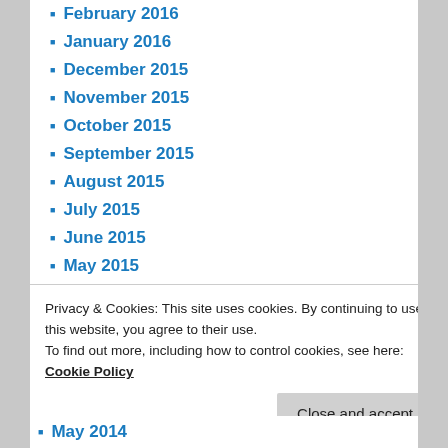February 2016
January 2016
December 2015
November 2015
October 2015
September 2015
August 2015
July 2015
June 2015
May 2015
April 2015
March 2015
February 2015
January 2015
December 2014
May 2014
Privacy & Cookies: This site uses cookies. By continuing to use this website, you agree to their use. To find out more, including how to control cookies, see here: Cookie Policy